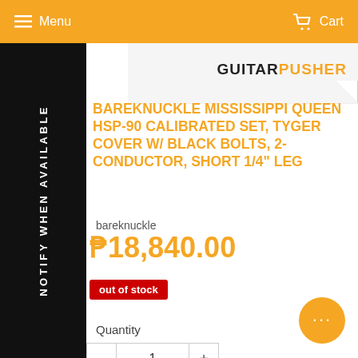Menu | Cart
[Figure (logo): GUITARPUSHER logo — GUITAR in black bold, PUSHER in orange bold]
BAREKNUCKLE MISSISSIPPI QUEEN HSP-90 CALIBRATED SET, TYGER COVER W/ BLACK BOLTS, 2-CONDUCTOR, SHORT 1/4" LEG
bareknuckle
₱18,840.00
out of stock
Quantity
1
NOTIFY WHEN AVAILABLE